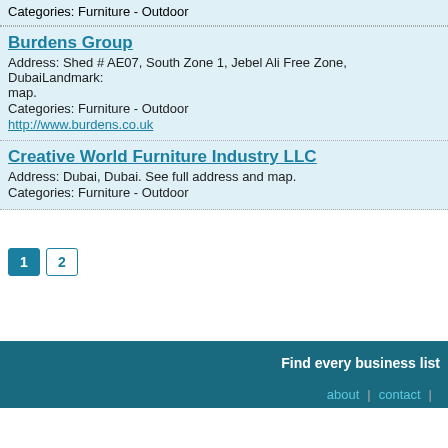Categories: Furniture - Outdoor
Burdens Group
Address: Shed # AE07, South Zone 1, Jebel Ali Free Zone, DubaiLandmark: map.
Categories: Furniture - Outdoor
http://www.burdens.co.uk
Creative World Furniture Industry LLC
Address: Dubai, Dubai. See full address and map.
Categories: Furniture - Outdoor
1  2
Find every business list   about  |  contact  |